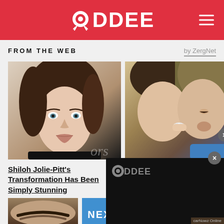ODDEE
FROM THE WEB
by ZergNet
[Figure (photo): Portrait photo of a young woman with brown hair, light eyes, and dark makeup, wearing a black top. Background with text 'ors'.]
[Figure (photo): Close-up photo of two people, one with a ring on their hand, appearing to be in an emotional moment.]
Shiloh Jolie-Pitt's Transformation Has Been Simply Stunning
[Figure (logo): ODDEE logo on black overlay panel with close button]
[Figure (photo): Bottom thumbnail showing partial close-up of a face with eyebrows]
NEXT